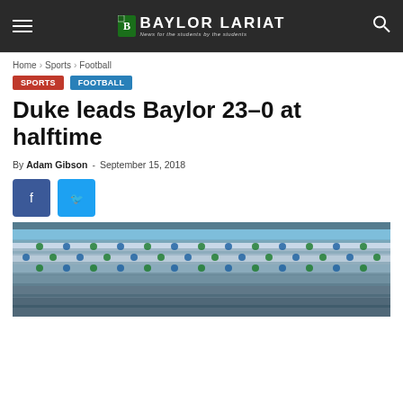Baylor Lariat — News for the students by the students
Home › Sports › Football
Sports
Football
Duke leads Baylor 23–0 at halftime
By Adam Gibson - September 15, 2018
[Figure (photo): Crowd in stadium stands at Baylor football game, fans in green and blue visible in bleachers]